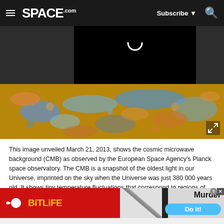SPACE.com — Subscribe | Search
[Figure (photo): Cosmic microwave background (CMB) image as observed by ESA's Planck space observatory, showing a colorful oval map with blue and orange speckled patterns on a dark background. Upper portion shows a black rectangle (video player). An expand icon is visible in the lower right.]
This image unveiled March 21, 2013, shows the cosmic microwave background (CMB) as observed by the European Space Agency's Planck space observatory. The CMB is a snapshot of the oldest light in our Universe, imprinted on the sky when the Universe was just 380 000 years old. It shows tiny temperature fluctuations that correspond to regions of slightly different densities, representing the seeds of all future structure: the stars and galaxies of today. (Image credit: ESA and the Planck Collaboration)
[Figure (screenshot): Advertisement banner for BitLife game. Left side is red with BitLife logo in yellow. Right side shows a pencil graphic with text 'Murder' and a blue pill button saying 'Do it!' with close and info icons.]